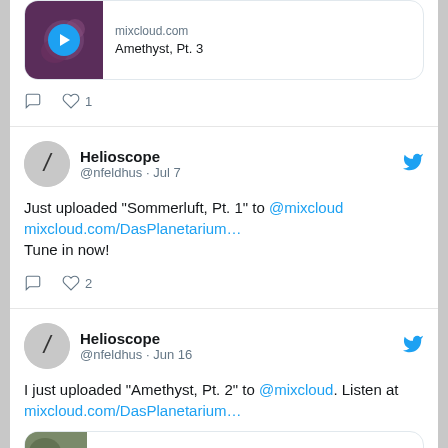[Figure (screenshot): Partial tweet showing a Mixcloud media card for 'Amethyst, Pt. 3' with a purple thumbnail and play button, plus action icons showing 1 like.]
Helioscope @nfeldhus · Jul 7
Just uploaded "Sommerluft, Pt. 1" to @mixcloud mixcloud.com/DasPlanetarium… Tune in now!
Helioscope @nfeldhus · Jun 16
I just uploaded "Amethyst, Pt. 2" to @mixcloud. Listen at mixcloud.com/DasPlanetarium…